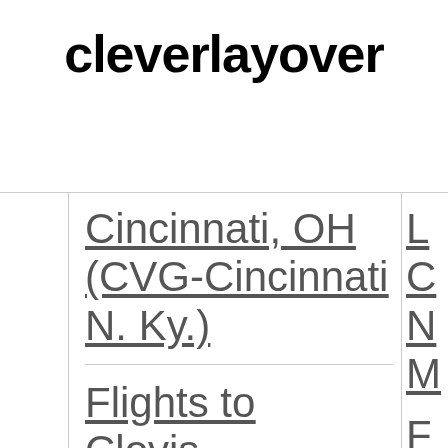cleverlayover
Cincinnati, OH (CVG-Cincinnati N. Ky.)
Flights to Clovis, NM (CVN)